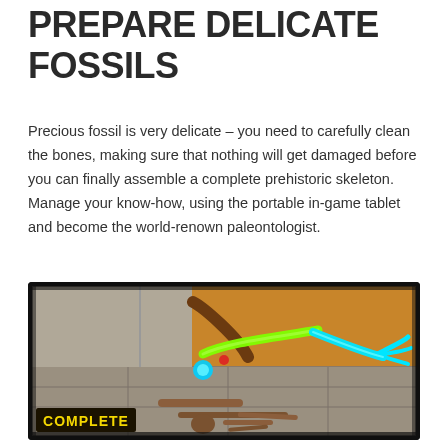PREPARE DELICATE FOSSILS
Precious fossil is very delicate – you need to carefully clean the bones, making sure that nothing will get damaged before you can finally assemble a complete prehistoric skeleton. Manage your know-how, using the portable in-game tablet and become the world-renown paleontologist.
[Figure (screenshot): Game screenshot showing a glowing green and cyan dinosaur arm bone being assembled on a stone floor, with fossilized bones laid out below and a yellow 'COMPLETE' badge in the bottom left corner.]